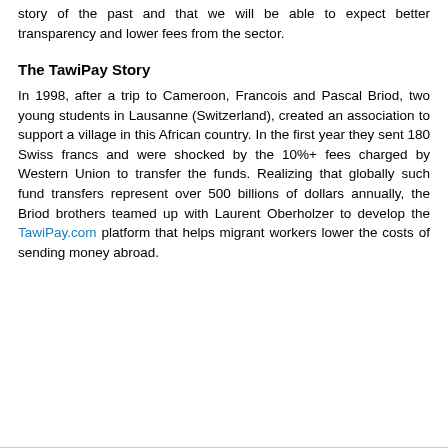story of the past and that we will be able to expect better transparency and lower fees from the sector.
The TawiPay Story
In 1998, after a trip to Cameroon, Francois and Pascal Briod, two young students in Lausanne (Switzerland), created an association to support a village in this African country. In the first year they sent 180 Swiss francs and were shocked by the 10%+ fees charged by Western Union to transfer the funds. Realizing that globally such fund transfers represent over 500 billions of dollars annually, the Briod brothers teamed up with Laurent Oberholzer to develop the TawiPay.com platform that helps migrant workers lower the costs of sending money abroad.